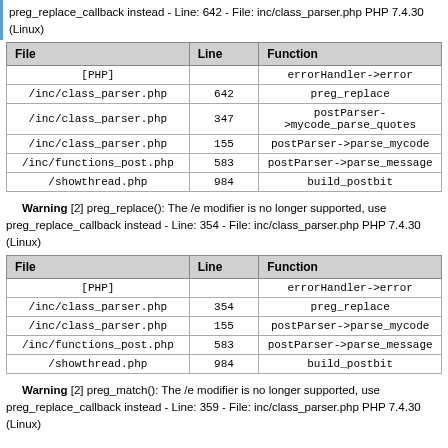preg_replace_callback instead - Line: 642 - File: inc/class_parser.php PHP 7.4.30 (Linux)
| File | Line | Function |
| --- | --- | --- |
| [PHP] |  | errorHandler->error |
| /inc/class_parser.php | 642 | preg_replace |
| /inc/class_parser.php | 347 | postParser->mycode_parse_quotes |
| /inc/class_parser.php | 155 | postParser->parse_mycode |
| /inc/functions_post.php | 583 | postParser->parse_message |
| /showthread.php | 984 | build_postbit |
Warning [2] preg_replace(): The /e modifier is no longer supported, use preg_replace_callback instead - Line: 354 - File: inc/class_parser.php PHP 7.4.30 (Linux)
| File | Line | Function |
| --- | --- | --- |
| [PHP] |  | errorHandler->error |
| /inc/class_parser.php | 354 | preg_replace |
| /inc/class_parser.php | 155 | postParser->parse_mycode |
| /inc/functions_post.php | 583 | postParser->parse_message |
| /showthread.php | 984 | build_postbit |
Warning [2] preg_match(): The /e modifier is no longer supported, use preg_replace_callback instead - Line: 359 - File: inc/class_parser.php PHP 7.4.30 (Linux)